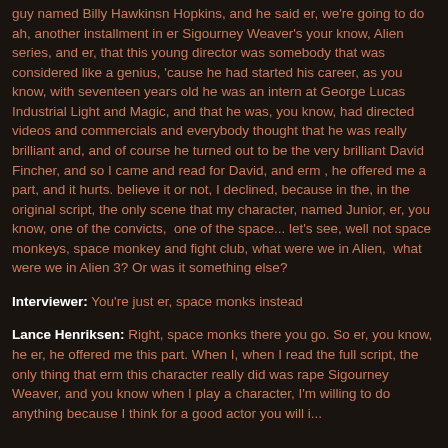guy named Billy Hawkinsn Hopkins, and he said er, we're going to do ah, another installment in er Sigourney Weaver's your know, Alien series, and er, that this young director was somebody that was considered like a genius, 'cause he had started his career, as you know, with seventeen years old he was an intern at George Lucas Industrial Light and Magic, and that he was, you know, had directed videos and commercials and everybody thought that he was really brilliant and, and of course he turned out to be the very brilliant David Fincher, and so I came and read for David, and erm , he offered me a part, and it hurts. believe it or not, I declined, because in the, in the original script, the only scene that my character, named Junior, er, you know, one of the convicts,  one of the space... let's see, well not space monkeys, space monkey and fight club, what were we in Alien,  what were we in Alien 3? Or was it something else?
Interviewer: You're just er, space monks instead
Lance Henriksen: Right, space monks there you go. So er, you know, he er, he offered me this part. When I, when I read the full script, the only thing that erm this character really did was rape Sigourney Weaver, and you know when I play a character, I'm willing to do anything because I think for a good actor you will i...